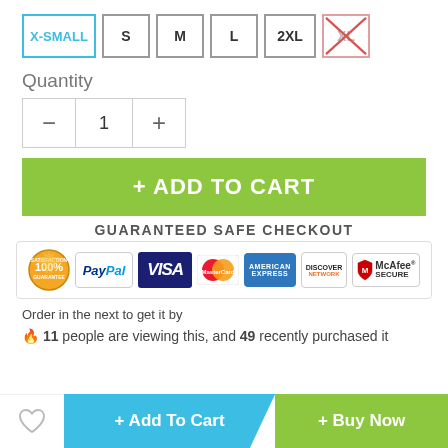Size options: X-SMALL (selected), S, M, L, 2XL, XL (unavailable)
Quantity
[Figure (infographic): Quantity stepper control with minus, 1, plus buttons]
+ ADD TO CART
GUARANTEED SAFE CHECKOUT
[Figure (infographic): Payment badges: 100% satisfaction guarantee seal, PayPal, VISA, MasterCard, American Express, Discover Network, McAfee SECURE]
Order in the next to get it by
🔥 11 people are viewing this, and 49 recently purchased it
+ Add To Cart
+ Buy Now